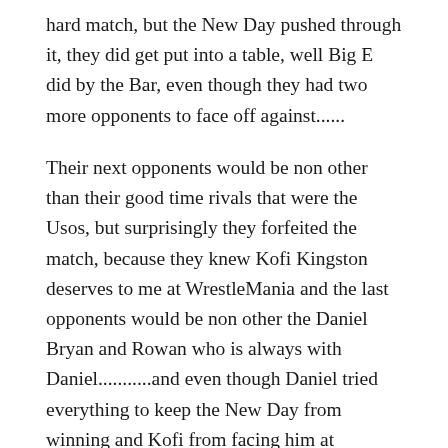hard match, but the New Day pushed through it, they did get put into a table, well Big E did by the Bar, even though they had two more opponents to face off against......
Their next opponents would be non other than their good time rivals that were the Usos, but surprisingly they forfeited the match, because they knew Kofi Kingston deserves to me at WrestleMania and the last opponents would be non other the Daniel Bryan and Rowan who is always with Daniel...........and even though Daniel tried everything to keep the New Day from winning and Kofi from facing him at WrestleMania in the end the New Day won when Rowan got counted out of the match.........